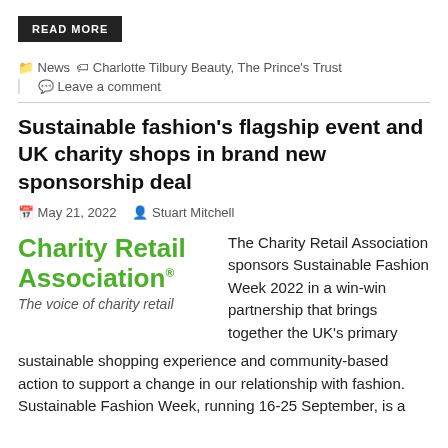READ MORE
News  Charlotte Tilbury Beauty, The Prince's Trust
Leave a comment
Sustainable fashion's flagship event and UK charity shops in brand new sponsorship deal
May 21, 2022  Stuart Mitchell
[Figure (logo): Charity Retail Association logo with tagline 'The voice of charity retail']
The Charity Retail Association sponsors Sustainable Fashion Week 2022 in a win-win partnership that brings together the UK's primary sustainable shopping experience and community-based action to support a change in our relationship with fashion.
Sustainable Fashion Week, running 16-25 September, is a